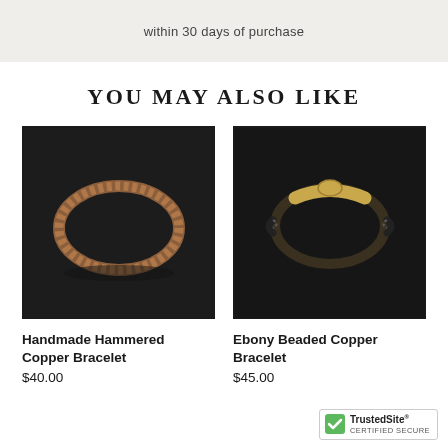within 30 days of purchase
YOU MAY ALSO LIKE
[Figure (photo): Photo of a handmade hammered copper bracelet on a dark background]
Handmade Hammered Copper Bracelet
$40.00
[Figure (photo): Photo of an ebony beaded copper bracelet on a dark background]
Ebony Beaded Copper Bracelet
$45.00
[Figure (logo): TrustedSite CERTIFIED SECURE badge]